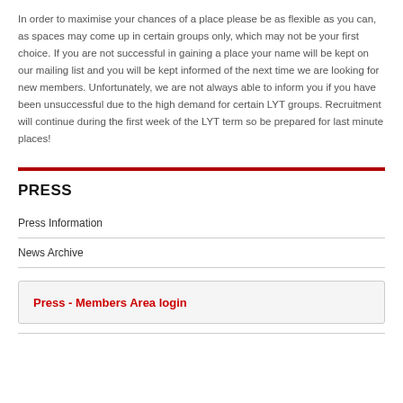In order to maximise your chances of a place please be as flexible as you can, as spaces may come up in certain groups only, which may not be your first choice. If you are not successful in gaining a place your name will be kept on our mailing list and you will be kept informed of the next time we are looking for new members. Unfortunately, we are not always able to inform you if you have been unsuccessful due to the high demand for certain LYT groups. Recruitment will continue during the first week of the LYT term so be prepared for last minute places!
PRESS
Press Information
News Archive
Press - Members Area login